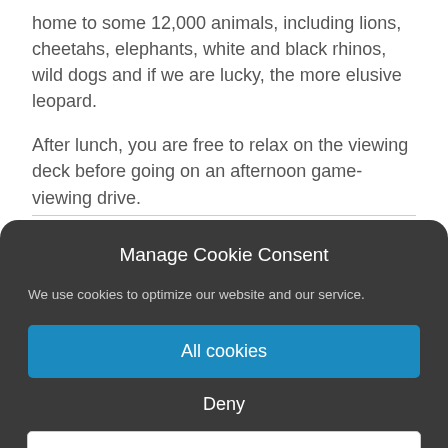home to some 12,000 animals, including lions, cheetahs, elephants, white and black rhinos, wild dogs and if we are lucky, the more elusive leopard.
After lunch, you are free to relax on the viewing deck before going on an afternoon game-viewing drive.
Manage Cookie Consent
We use cookies to optimize our website and our service.
All cookies
Deny
View preferences